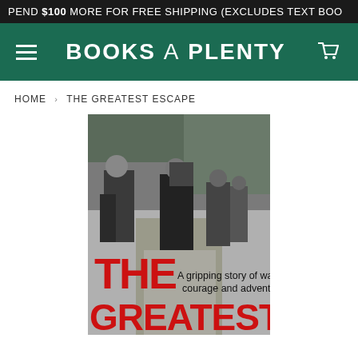SPEND $100 MORE FOR FREE SHIPPING (EXCLUDES TEXT BOO
BOOKS A PLENTY
HOME › THE GREATEST ESCAPE
[Figure (photo): Book cover of 'The Greatest Escape' showing a black and white photograph of soldiers or refugees moving through a wooded path, with bold red text 'THE' and 'GREATEST' and subtitle 'A gripping story of wartime courage and adventure']